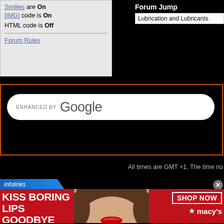Smilies are On
[IMG] code is On
HTML code is Off
Forum Rules
Forum Jump
Lubrication and Lubricants
[Figure (screenshot): Google search bar with 'ENHANCED BY Google' text inside a white rounded search box on a black background, surrounded by an orange border]
All times are GMT +1. The time no
[Figure (photo): Infolinks branded tab above a Macy's advertisement banner showing 'KISS BORING LIPS GOODBYE' with a woman's face and red lips, and a 'SHOP NOW' button with Macy's star logo]